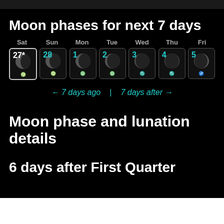Moon phases for next 7 days
[Figure (infographic): 7-day moon phase calendar showing days Sat(27*) through Fri(5) with moon phase icons and astrological signs]
← 7 days ago  |  7 days after →
Moon phase and lunation details
6 days after First Quarter